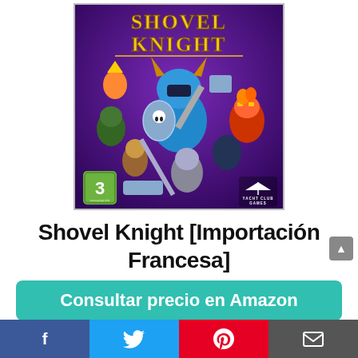[Figure (illustration): Shovel Knight video game box art showing multiple colorful characters including the main blue armored knight wielding a shovel, on a purple background with PEGI 3 rating badge and Yacht Club Games logo]
Shovel Knight [Importación Francesa]
[Figure (other): Teal button with text 'Consultar precio en Amazon' partially visible]
[Figure (other): Social media share bar with Facebook, Twitter, Pinterest, and Email buttons]